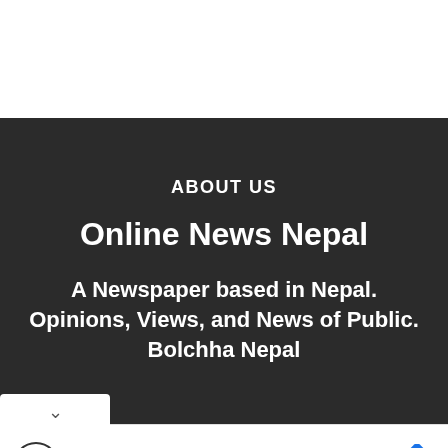ABOUT US
Online News Nepal
A Newspaper based in Nepal. Opinions, Views, and News of Public. Bolchha Nepal
[Figure (screenshot): Advertisement banner for Topgolf: 'Fun For The Whole Family' with Topgolf logo and navigation arrow icon]